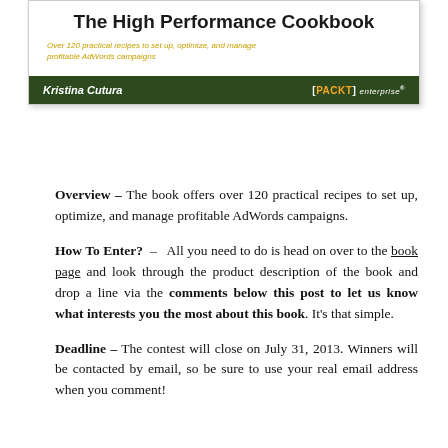[Figure (illustration): Book cover for 'The High Performance Cookbook' by Kristina Cutura, published by Packt Enterprise. White background with title in bold black text, subtitle in gold italic text, and a dark green bar at the bottom with author name and Packt logo.]
Overview – The book offers over 120 practical recipes to set up, optimize, and manage profitable AdWords campaigns.
How To Enter? – All you need to do is head on over to the book page and look through the product description of the book and drop a line via the comments below this post to let us know what interests you the most about this book. It's that simple.
Deadline – The contest will close on July 31, 2013. Winners will be contacted by email, so be sure to use your real email address when you comment!